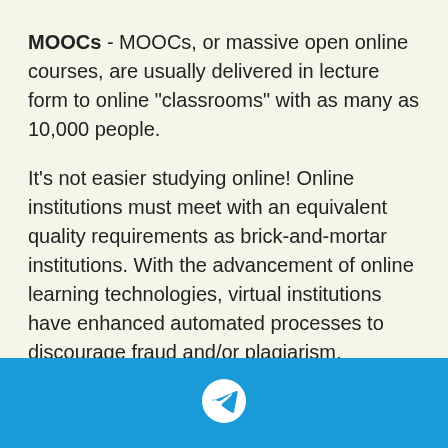MOOCs - MOOCs, or massive open online courses, are usually delivered in lecture form to online "classrooms" with as many as 10,000 people.
It's not easier studying online! Online institutions must meet with an equivalent quality requirements as brick-and-mortar institutions. With the advancement of online learning technologies, virtual institutions have enhanced automated processes to discourage fraud and/or plagiarism.
It's not easier studying online! Online institutions must meet with an equivalent quality requirements as brick-and-mortar institutions. With the advancement of online learning technologies, virtual institutions have enhanced automated processes to discourage fraud and/or plagiarism.
NIDAN Kasoti Ayojan File 2021
[Figure (logo): Telegram messenger icon (white paper plane in circle) on blue background footer bar]